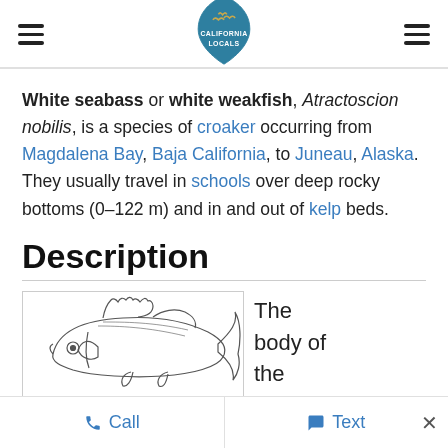California Locals — navigation header with logo
White seabass or white weakfish, Atractoscion nobilis, is a species of croaker occurring from Magdalena Bay, Baja California, to Juneau, Alaska. They usually travel in schools over deep rocky bottoms (0–122 m) and in and out of kelp beds.
Description
[Figure (illustration): Line drawing sketch of a white seabass fish in a bordered box]
The body of the
Call   Text   ×